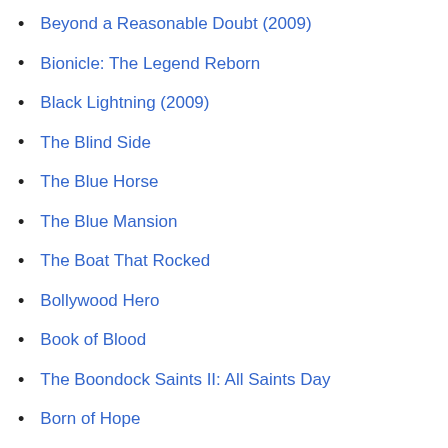Beyond a Reasonable Doubt (2009)
Bionicle: The Legend Reborn
Black Lightning (2009)
The Blind Side
The Blue Horse
The Blue Mansion
The Boat That Rocked
Bollywood Hero
Book of Blood
The Boondock Saints II: All Saints Day
Born of Hope
The Box (2009)